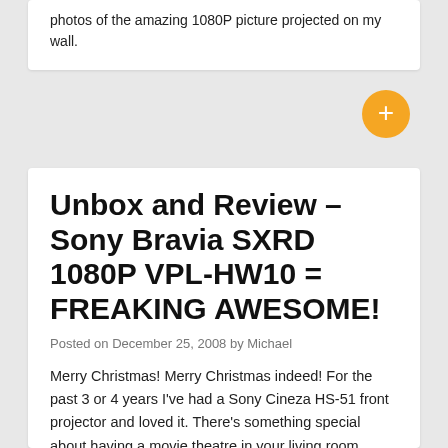photos of the amazing 1080P picture projected on my wall.
Unbox and Review – Sony Bravia SXRD 1080P VPL-HW10 = FREAKING AWESOME!
Posted on December 25, 2008 by Michael
Merry Christmas! Merry Christmas indeed! For the past 3 or 4 years I've had a Sony Cineza HS-51 front projector and loved it. There's something special about having a movie theatre in your living room.